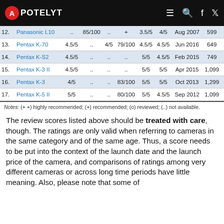APOTELYT
| # | Camera | Rating | .. | Rating2 | Score | Sensor | Overall | Date | Price |
| --- | --- | --- | --- | --- | --- | --- | --- | --- | --- |
| 12. | Panasonic L10 | .. | 85/100 | .. | + | 3.5/5 | 4/5 | Aug 2007 | 599 |
| 13. | Pentax K-70 | 4.5/5 | .. | 4/5 | 79/100 | 4.5/5 | 4.5/5 | Jun 2016 | 649 |
| 14. | Pentax K-S2 | 4.5/5 | .. | .. | .. | 5/5 | 4.5/5 | Feb 2015 | 749 |
| 15. | Pentax K-3 II | 4.5/5 | .. | .. | .. | 5/5 | 5/5 | Apr 2015 | 1,099 |
| 16. | Pentax K-3 | 4/5 | .. | .. | 83/100 | 5/5 | 5/5 | Oct 2013 | 1,299 |
| 17. | Pentax K-5 II | 5/5 | .. | .. | 80/100 | 5/5 | 4.5/5 | Sep 2012 | 1,099 |
Notes: (+ +) highly recommended; (+) recommended; (o) reviewed; (..) not available.
The review scores listed above should be treated with care, though. The ratings are only valid when referring to cameras in the same category and of the same age. Thus, a score needs to be put into the context of the launch date and the launch price of the camera, and comparisons of ratings among very different cameras or across long time periods have little meaning. Also, please note that some of the review sites changed their methodology over the